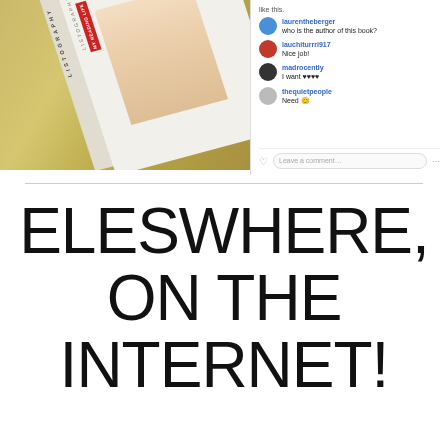[Figure (photo): A photo composite showing a book (with 'MY READING LIFE' visible on the spine/cover) laid on a surface, alongside an Instagram comments panel showing users laurentheberger, lauchiturrri917, madrocently, and thequietpeople commenting on the book.]
ELESWHERE, ON THE INTERNET!